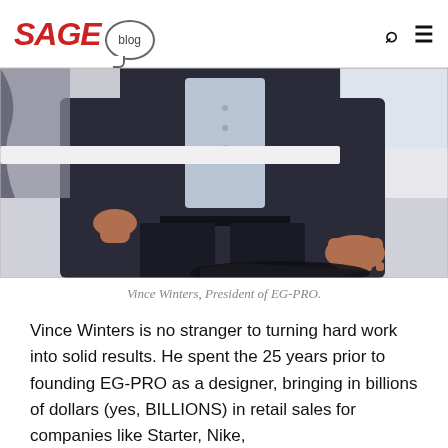SAGE blog
[Figure (photo): Man in dark blazer and light blue shirt, hand on hip, other hand resting on a surface, photographed from torso down. Indoor setting with window in background.]
Vince Winters, President of EG-PRO.
Vince Winters is no stranger to turning hard work into solid results. He spent the 25 years prior to founding EG-PRO as a designer, bringing in billions of dollars (yes, BILLIONS) in retail sales for companies like Starter, Nike,